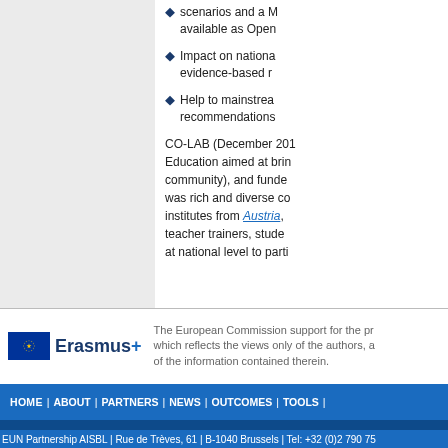scenarios and a M... available as Open...
Impact on nationa... evidence-based r...
Help to mainstrea... recommendations...
CO-LAB (December 201... Education aimed at brin... community), and funde... was rich and diverse co... institutes from Austria, ... teacher trainers, stude... at national level to parti...
The European Commission support for the pr... which reflects the views only of the authors, a... of the information contained therein.
[Figure (logo): Erasmus+ logo with EU flag stars emblem]
HOME | ABOUT | PARTNERS | NEWS | OUTCOMES | TOOLS |
EUN Partnership AISBL | Rue de Trèves, 61 | B-1040 Brussels | Tel: +32 (0)2 790 75